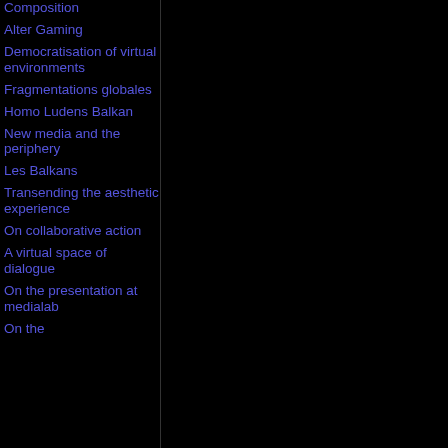Composition
Alter Gaming
Democratisation of virtual environments
Fragmentations globales
Homo Ludens Balkan
New media and the periphery
Les Balkans
Transending the aesthetic experience
On collaborative action
A virtual space of dialogue
On the presentation at medialab
On the